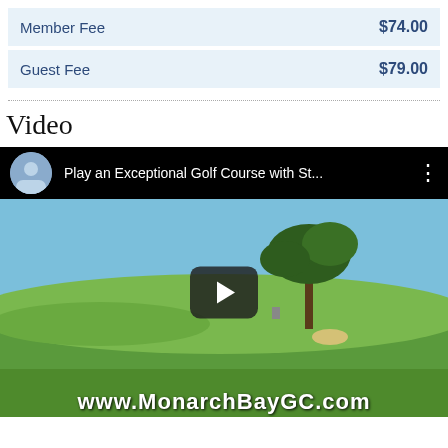| Member Fee | $74.00 |
| Guest Fee | $79.00 |
Video
[Figure (screenshot): YouTube video thumbnail showing a golf course with a tree and green fairway. Top bar shows avatar and title 'Play an Exceptional Golf Course with St...' with a play button overlay. Bottom shows 'www.MonarchBayGC.com']